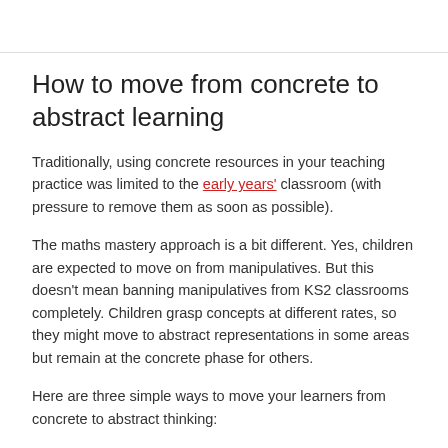How to move from concrete to abstract learning
Traditionally, using concrete resources in your teaching practice was limited to the early years' classroom (with pressure to remove them as soon as possible).
The maths mastery approach is a bit different. Yes, children are expected to move on from manipulatives. But this doesn't mean banning manipulatives from KS2 classrooms completely. Children grasp concepts at different rates, so they might move to abstract representations in some areas but remain at the concrete phase for others.
Here are three simple ways to move your learners from concrete to abstract thinking: